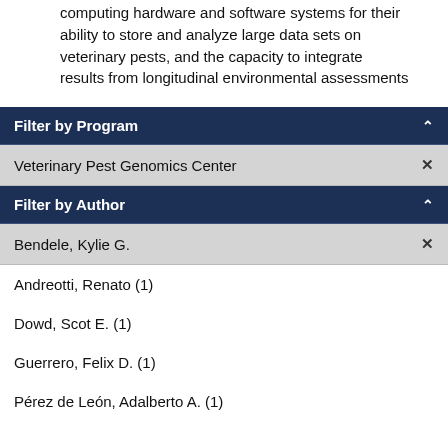computing hardware and software systems for their ability to store and analyze large data sets on veterinary pests, and the capacity to integrate results from longitudinal environmental assessments
Filter by Program
Veterinary Pest Genomics Center ×
Filter by Author
Bendele, Kylie G. ×
Andreotti, Renato (1)
Dowd, Scot E. (1)
Guerrero, Felix D. (1)
Pérez de León, Adalberto A. (1)